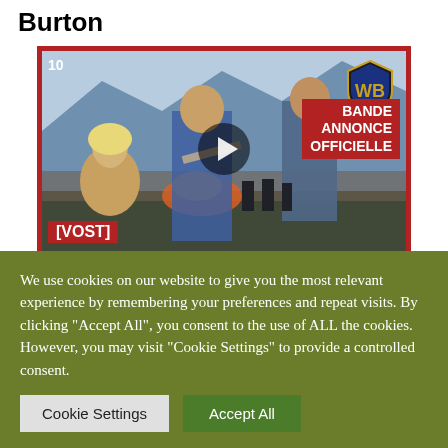Burton
[Figure (screenshot): YouTube-style video thumbnail for a movie (Warner Bros.) showing action scene artwork with text 'BANDE ANNONCE OFFICIELLE' and '[VOST]' labels, with a play button overlay. Red border around thumbnail.]
We use cookies on our website to give you the most relevant experience by remembering your preferences and repeat visits. By clicking "Accept All", you consent to the use of ALL the cookies. However, you may visit "Cookie Settings" to provide a controlled consent.
Cookie Settings   Accept All